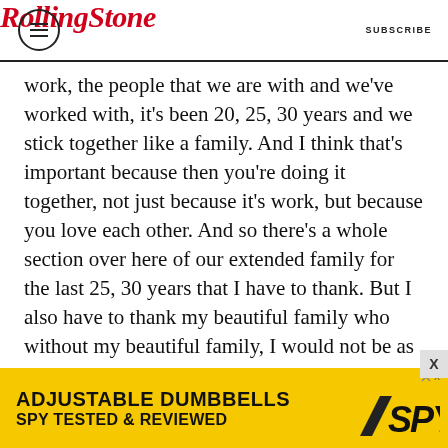RollingStone — SUBSCRIBE
work, the people that we are with and we've worked with, it's been 20, 25, 30 years and we stick together like a family. And I think that's important because then you're doing it together, not just because it's work, but because you love each other. And so there's a whole section over here of our extended family for the last 25, 30 years that I have to thank. But I also have to thank my beautiful family who without my beautiful family, I would not be as happy as I am, so I love you guys so much and thank you very much. And I have to thank these people, because we wouldn't be here tonight if it weren't for each one of these Foo Fighters. And, we did it
[Figure (other): Advertisement banner for adjustable dumbbells by SPY — yellow background with bold text: ADJUSTABLE DUMBBELLS / SPY TESTED & REVIEWED, with SPY logo]